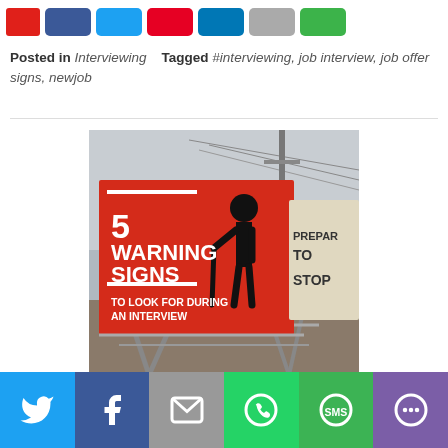Posted in Interviewing   Tagged #interviewing, job interview, job offer signs, newjob
[Figure (photo): A photo of a red road construction warning sign with text overlay reading '5 WARNING SIGNS TO LOOK FOR DURING AN INTERVIEW', with a silhouette of a worker figure on the sign. Another sign reading 'PREPARE TO STOP' is visible to the right.]
Social share buttons: Twitter, Facebook, Email, WhatsApp, SMS, More